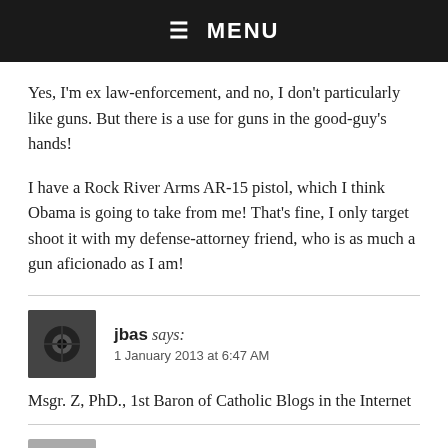☰ MENU
Yes, I'm ex law-enforcement, and no, I don't particularly like guns. But there is a use for guns in the good-guy's hands!
I have a Rock River Arms AR-15 pistol, which I think Obama is going to take from me! That's fine, I only target shoot it with my defense-attorney friend, who is as much a gun aficionado as I am!
jbas says:
1 January 2013 at 6:47 AM
Msgr. Z, PhD., 1st Baron of Catholic Blogs in the Internet
pberginir says: